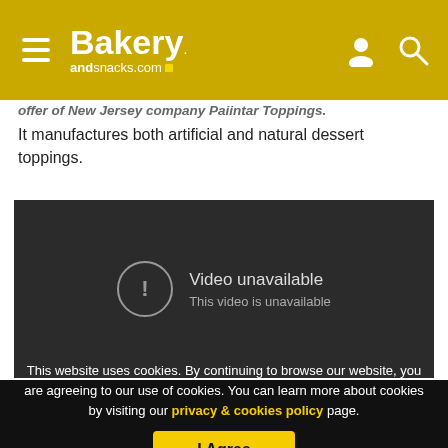Bakery andsnacks.com
It manufactures both artificial and natural dessert toppings.
[Figure (screenshot): Embedded video player showing 'Video unavailable - This video is unavailable' message on dark background]
This website uses cookies. By continuing to browse our website, you are agreeing to our use of cookies. You can learn more about cookies by visiting our privacy & cookies policy page.